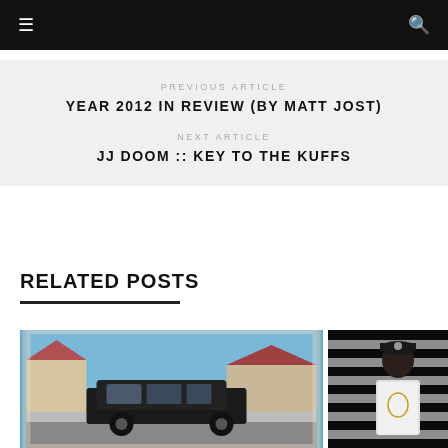≡  🔍
PREVIOUS ARTICLE
YEAR 2012 IN REVIEW (BY MATT JOST)
NEXT ARTICLE
JJ DOOM :: KEY TO THE KUFFS
RELATED POSTS
[Figure (photo): Album cover photo showing a black SUV/minivan parked on a suburban street with houses in background - Kendrick Lamar good kid m.A.A.d city style photo]
[Figure (photo): Photo of a rapper standing in front of a black and white American flag with skull and crossbones motif]